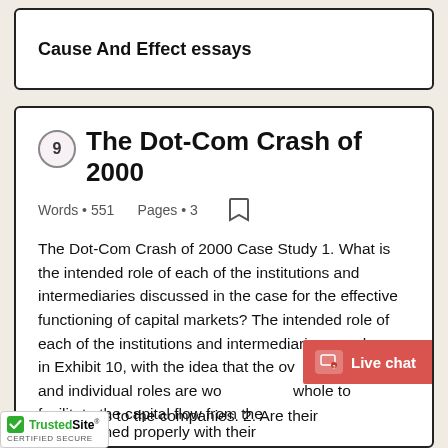Cause And Effect essays
9 The Dot-Com Crash of 2000
Words • 551    Pages • 3
The Dot-Com Crash of 2000 Case Study 1. What is the intended role of each of the institutions and intermediaries discussed in the case for the effective functioning of capital markets? The intended role of each of the institutions and intermediaries are shown in Exhibit 10, with the idea that the overall structure and individual roles are working as a whole to facilitate the capital flow from the investors to the companies. 2. Are their incentives aligned properly with their